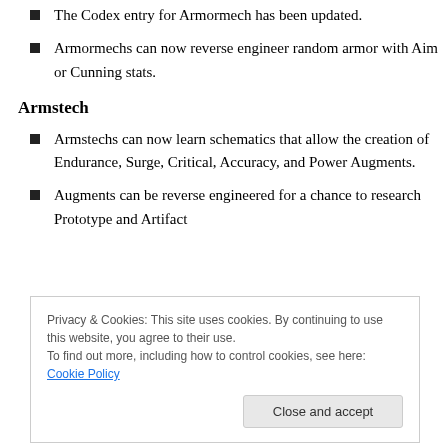The Codex entry for Armormech has been updated.
Armormechs can now reverse engineer random armor with Aim or Cunning stats.
Armstech
Armstechs can now learn schematics that allow the creation of Endurance, Surge, Critical, Accuracy, and Power Augments.
Augments can be reverse engineered for a chance to research Prototype and Artifact
Privacy & Cookies: This site uses cookies. By continuing to use this website, you agree to their use.
To find out more, including how to control cookies, see here: Cookie Policy
A critical success while crafting Custom